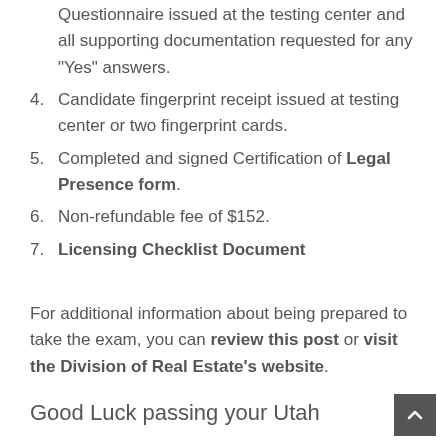Questionnaire issued at the testing center and all supporting documentation requested for any "Yes" answers.
4. Candidate fingerprint receipt issued at testing center or two fingerprint cards.
5. Completed and signed Certification of Legal Presence form.
6. Non-refundable fee of $152.
7. Licensing Checklist Document
For additional information about being prepared to take the exam, you can review this post or visit the Division of Real Estate's website.
Good Luck passing your Utah